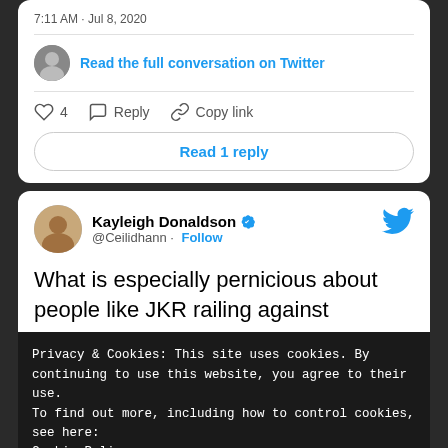7:11 AM · Jul 8, 2020
Read the full conversation on Twitter
♡ 4   Reply   Copy link
Read 1 reply
Kayleigh Donaldson @Ceilidhann · Follow
What is especially pernicious about people like JKR railing against
Privacy & Cookies: This site uses cookies. By continuing to use this website, you agree to their use.
To find out more, including how to control cookies, see here:
Cookie Policy
Close and accept
shame required to be accountable to anyone